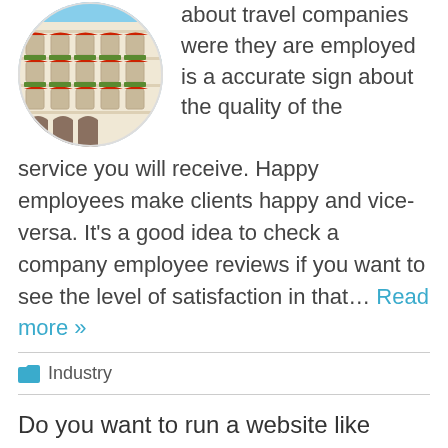[Figure (photo): Circular cropped photo of a ornate hotel building facade with red awnings and flower balconies]
about travel companies were they are employed is a accurate sign about the quality of the service you will receive. Happy employees make clients happy and vice-versa. It's a good idea to check a company employee reviews if you want to see the level of satisfaction in that... Read more »
Industry
Do you want to run a website like Airbnb ?